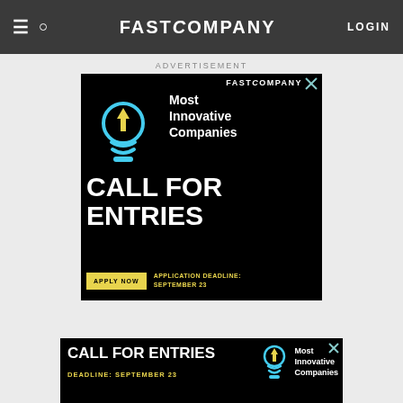Fast Company navigation bar with hamburger menu, search icon, FAST COMPANY logo, and LOGIN button
ADVERTISEMENT
[Figure (infographic): Fast Company Most Innovative Companies – Call For Entries advertisement. Black background with cyan lightbulb icon featuring yellow upward arrow, white text 'Most Innovative Companies' and 'CALL FOR ENTRIES', yellow 'APPLY NOW' button, yellow text 'APPLICATION DEADLINE: SEPTEMBER 23'. Small X close button and Fast Company logo in top right.]
[Figure (infographic): Bottom banner ad: Black background, white bold 'CALL FOR ENTRIES', yellow 'DEADLINE: SEPTEMBER 23', lightbulb icon, 'Most Innovative Companies' text. X close button top right.]